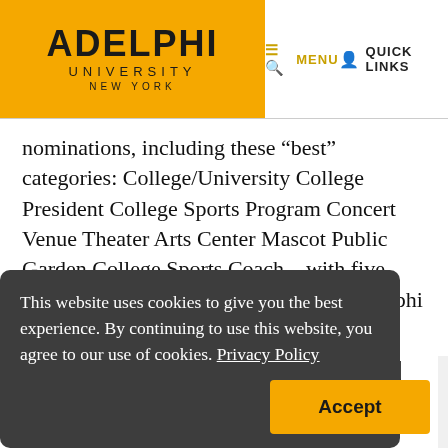[Figure (logo): Adelphi University New York logo on gold/yellow background]
MENU   QUICK LINKS
nominations, including these “best” categories: College/University College President College Sports Program Concert Venue Theater Arts Center Mascot Public Garden College Sports Coach—with five Panther head coaches making the cut Adelphi is…
This website uses cookies to give you the best experience. By continuing to use this website, you agree to our use of cookies. Privacy Policy
Accept
PRESIDENT
Adelphi’s Need for Change and My Commitm…
September 16, 2020 ·